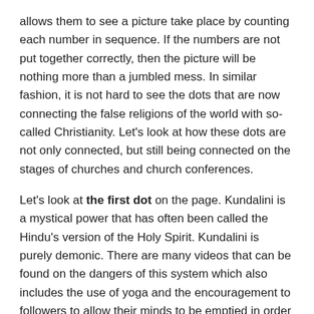allows them to see a picture take place by counting each number in sequence. If the numbers are not put together correctly, then the picture will be nothing more than a jumbled mess. In similar fashion, it is not hard to see the dots that are now connecting the false religions of the world with so-called Christianity. Let's look at how these dots are not only connected, but still being connected on the stages of churches and church conferences.
Let's look at the first dot on the page. Kundalini is a mystical power that has often been called the Hindu's version of the Holy Spirit. Kundalini is purely demonic. There are many videos that can be found on the dangers of this system which also includes the use of yoga and the encouragement to followers to allow their minds to be emptied in order for peace to fill them.
Any true minister would point out the heresy of such a religious system!
The second dot makes a radical jump from the blatant heresy